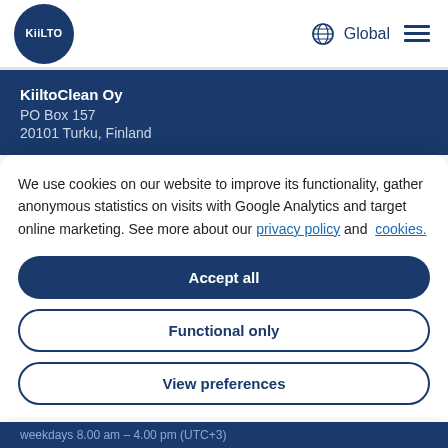[Figure (logo): KiilTO circular dark blue logo with white text]
Global
KiiltoClean Oy
PO Box 157
20101 Turku, Finland
We use cookies on our website to improve its functionality, gather anonymous statistics on visits with Google Analytics and target online marketing. See more about our privacy policy and cookies.
Accept all
Functional only
View preferences
weekdays 8.00 am – 4.00 pm (UTC+3)